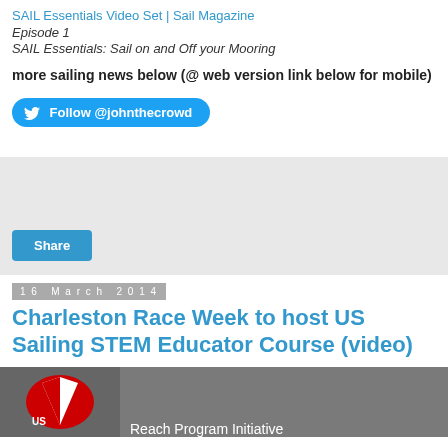SAIL Essentials Video Set | Sail Magazine
Episode 1
SAIL Essentials: Sail on and Off your Mooring
more sailing news below (@ web version link below for mobile)
[Figure (other): Twitter Follow button: Follow @johnthecrowd]
[Figure (other): Gray box with Share button]
16 March 2014
Charleston Race Week to host US Sailing STEM Educator Course (video)
[Figure (screenshot): Video thumbnail showing US Sailing logo and text 'Reach Program Initiative']